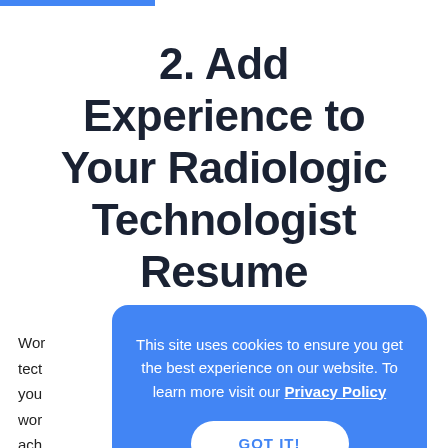2. Add Experience to Your Radiologic Technologist Resume
Wor tech you wor ach jobs
This site uses cookies to ensure you get the best experience on our website. To learn more visit our Privacy Policy
GOT IT!